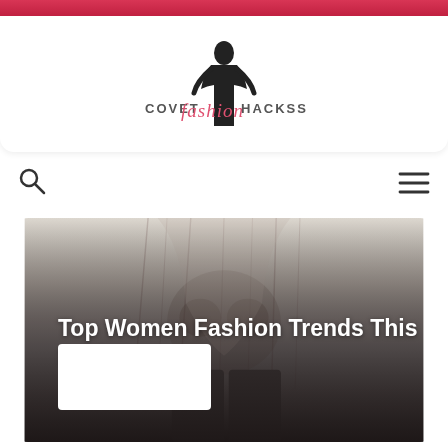COVET fashion HACKSS
[Figure (logo): Covet Fashion Hackss logo with silhouette of woman and stylized text]
[Figure (photo): Woman wearing a patterned bohemian top with dark leggings, torso and lower body visible, grayscale fashion photo]
Top Women Fashion Trends This Spring